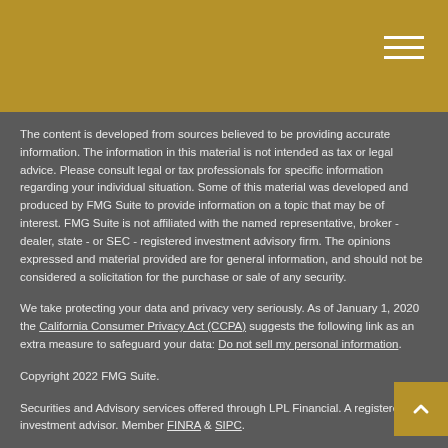The content is developed from sources believed to be providing accurate information. The information in this material is not intended as tax or legal advice. Please consult legal or tax professionals for specific information regarding your individual situation. Some of this material was developed and produced by FMG Suite to provide information on a topic that may be of interest. FMG Suite is not affiliated with the named representative, broker - dealer, state - or SEC - registered investment advisory firm. The opinions expressed and material provided are for general information, and should not be considered a solicitation for the purchase or sale of any security.
We take protecting your data and privacy very seriously. As of January 1, 2020 the California Consumer Privacy Act (CCPA) suggests the following link as an extra measure to safeguard your data: Do not sell my personal information.
Copyright 2022 FMG Suite.
Securities and Advisory services offered through LPL Financial. A registered investment advisor. Member FINRA & SIPC.
The LPL Financial Registered Representatives associated with this site may only discuss and / or transact securities business with residents of the following states: Alabama (AL), Arkansas (AR), Arizona (AZ), California (CA), Colorado (CO), Connecticut (CT), Florida (FL), Georgia (GA), Hawaii (HI), Iowa (IA), Idaho (ID), Illinois (IL), Indiana (IN), Kansas (KS), Massachusetts (MA), Maryland (MD), Michigan